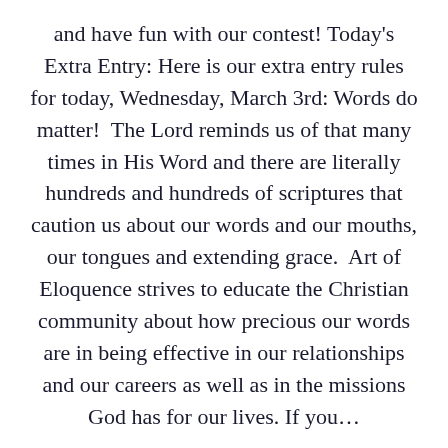and have fun with our contest! Today's Extra Entry: Here is our extra entry rules for today, Wednesday, March 3rd: Words do matter!  The Lord reminds us of that many times in His Word and there are literally hundreds and hundreds of scriptures that caution us about our words and our mouths, our tongues and extending grace.  Art of Eloquence strives to educate the Christian community about how precious our words are in being effective in our relationships and our careers as well as in the missions God has for our lives. If you...
Continue reading →
Tags:  Contests  scriptures  Words Matter